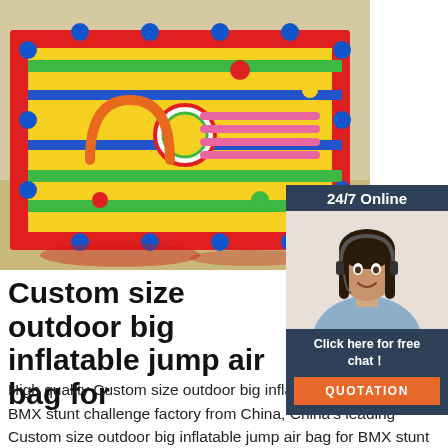[Figure (photo): Aerial view of a large colorful inflatable playground/obstacle course with yellow, red, green and blue sections, viewed from above on a concrete area.]
[Figure (photo): Customer service agent - woman with dark hair wearing a headset and smiling, with '24/7 Online' banner and 'Click here for free chat!' text and orange QUOTATION button.]
Custom size outdoor big inflatable jump air bag for
High quality Custom size outdoor big inflatable jump air bag for BMX stunt challenge factory from China, China's leading Custom size outdoor big inflatable jump air bag for BMX stunt challenge product market, With strict quality control Inflatable Sports Games factories, Producing high quality Inflatable Sports Games products.